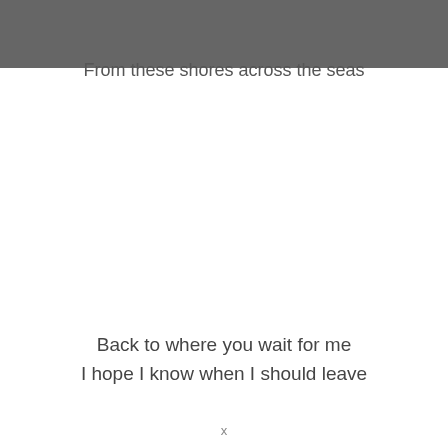From these shores across the seas
Back to where you wait for me
I hope I know when I should leave
x